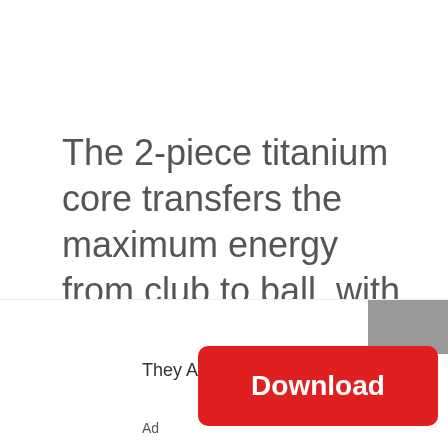The 2-piece titanium core transfers the maximum energy from club to ball, with an explosive distance off any club. The ball has a cut proof cover to make this a long hitting, and long life golf ball.
[Figure (infographic): Advertisement banner with red download button reading 'Download', text 'They Are Coming!' and 'Ad' label, with a gray box in top-right corner.]